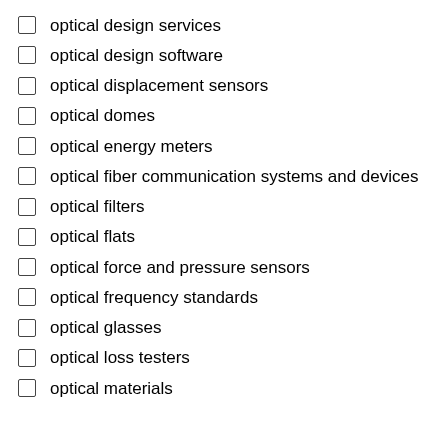optical design services
optical design software
optical displacement sensors
optical domes
optical energy meters
optical fiber communication systems and devices
optical filters
optical flats
optical force and pressure sensors
optical frequency standards
optical glasses
optical loss testers
optical materials